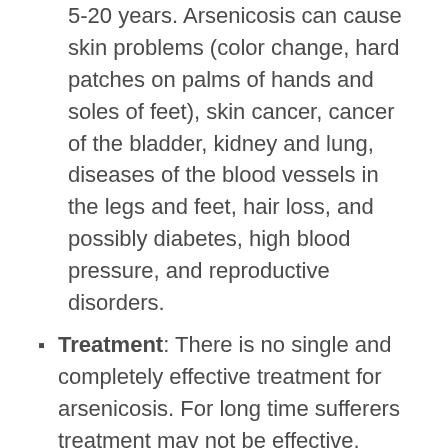5-20 years.  Arsenicosis can cause skin problems (color change, hard patches on palms of hands and soles of feet), skin cancer, cancer of the bladder, kidney and lung, diseases of the blood vessels in the legs and feet, hair loss, and possibly diabetes, high blood pressure, and reproductive disorders.
Treatment: There is no single and completely effective treatment for arsenicosis.  For long time sufferers treatment may not be effective.  Flushing of the bowels with a polyethylene solution has been used to flush the arsenic out of the system, however, this is not a proven treatment.  A treatment called Chelation has had some success.  This treatment...